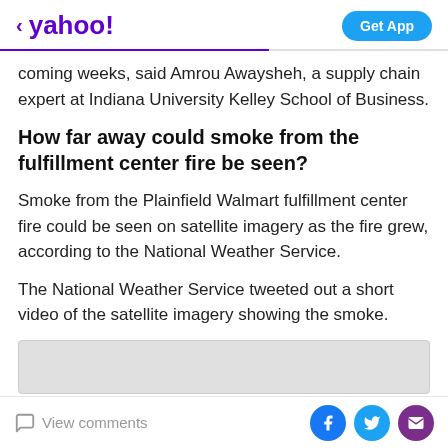< yahoo! | Get App
coming weeks, said Amrou Awaysheh, a supply chain expert at Indiana University Kelley School of Business.
How far away could smoke from the fulfillment center fire be seen?
Smoke from the Plainfield Walmart fulfillment center fire could be seen on satellite imagery as the fire grew, according to the National Weather Service.
The National Weather Service tweeted out a short video of the satellite imagery showing the smoke.
[Figure (screenshot): Embedded gray content box (partially visible)]
View comments | Facebook | Twitter | Email